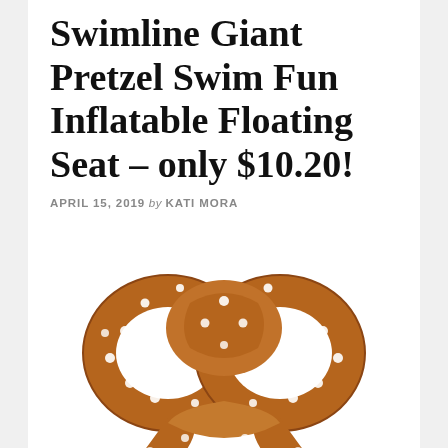Swimline Giant Pretzel Swim Fun Inflatable Floating Seat – only $10.20!
APRIL 15, 2019 by KATI MORA
[Figure (photo): Photo of a giant inflatable pretzel pool float, brown with white dots, viewed from above on a white background.]